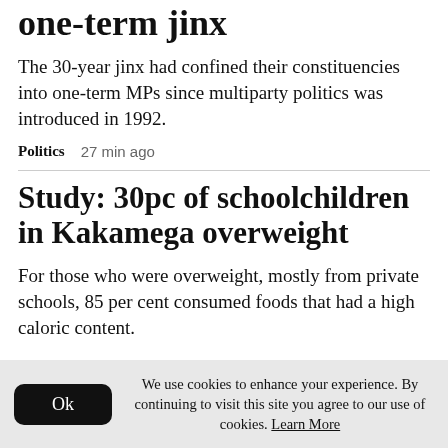one-term jinx
The 30-year jinx had confined their constituencies into one-term MPs since multiparty politics was introduced in 1992.
Politics   27 min ago
Study: 30pc of schoolchildren in Kakamega overweight
For those who were overweight, mostly from private schools, 85 per cent consumed foods that had a high caloric content.
We use cookies to enhance your experience. By continuing to visit this site you agree to our use of cookies. Learn More